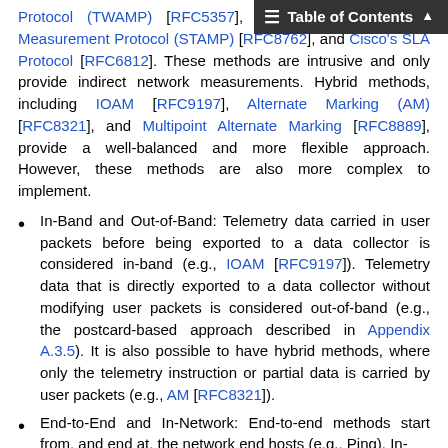Table of Contents
Protocol (TWAMP) [RFC5357], Simple Two-way Active Measurement Protocol (STAMP) [RFC8762], and Cisco's SLA Protocol [RFC6812]. These methods are intrusive and only provide indirect network measurements. Hybrid methods, including IOAM [RFC9197], Alternate Marking (AM) [RFC8321], and Multipoint Alternate Marking [RFC8889], provide a well-balanced and more flexible approach. However, these methods are also more complex to implement.
In-Band and Out-of-Band: Telemetry data carried in user packets before being exported to a data collector is considered in-band (e.g., IOAM [RFC9197]). Telemetry data that is directly exported to a data collector without modifying user packets is considered out-of-band (e.g., the postcard-based approach described in Appendix A.3.5). It is also possible to have hybrid methods, where only the telemetry instruction or partial data is carried by user packets (e.g., AM [RFC8321]).
End-to-End and In-Network: End-to-end methods start from, and end at, the network end hosts (e.g., Ping). In-